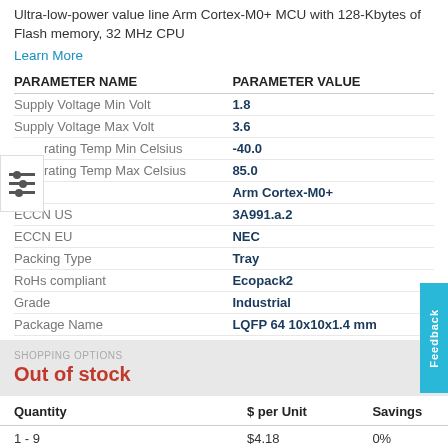Ultra-low-power value line Arm Cortex-M0+ MCU with 128-Kbytes of Flash memory, 32 MHz CPU
Learn More
| PARAMETER NAME | PARAMETER VALUE |
| --- | --- |
| Supply Voltage Min Volt | 1.8 |
| Supply Voltage Max Volt | 3.6 |
| Operating Temp Min Celsius | -40.0 |
| Operating Temp Max Celsius | 85.0 |
| Core | Arm Cortex-M0+ |
| ECCN US | 3A991.a.2 |
| ECCN EU | NEC |
| Packing Type | Tray |
| RoHs compliant | Ecopack2 |
| Grade | Industrial |
| Package Name | LQFP 64 10x10x1.4 mm |
Out of stock
| Quantity | $ per Unit | Savings |
| --- | --- | --- |
| 1 - 9 | $4.18 | 0% |